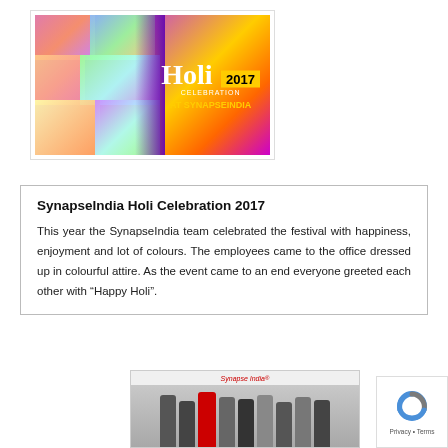[Figure (photo): Holi Celebration 2017 at SynapseIndia promotional image with colorful background and people celebrating Holi]
SynapseIndia Holi Celebration 2017
This year the SynapseIndia team celebrated the festival with happiness, enjoyment and lot of colours. The employees came to the office dressed up in colourful attire. As the event came to an end everyone greeted each other with “Happy Holi”.
[Figure (photo): Group photo of SynapseIndia employees at a Christmas celebration with a Santa Claus costume]
[Figure (logo): Google reCAPTCHA badge with Privacy and Terms links]